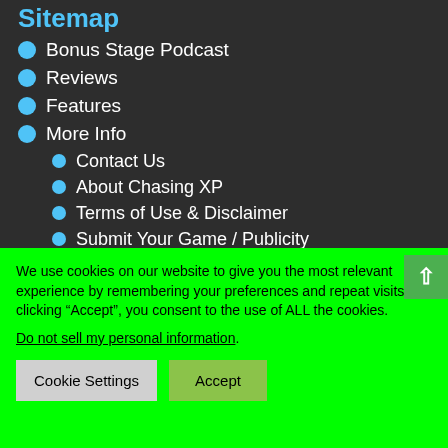Sitemap
Bonus Stage Podcast
Reviews
Features
More Info
Contact Us
About Chasing XP
Terms of Use & Disclaimer
Submit Your Game / Publicity
We use cookies on our website to give you the most relevant experience by remembering your preferences and repeat visits. By clicking “Accept”, you consent to the use of ALL the cookies.
Do not sell my personal information.